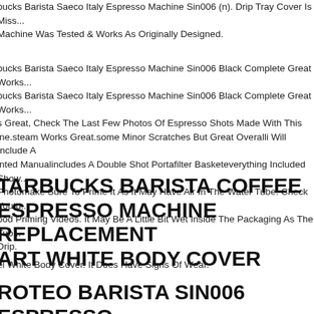bucks Barista Saeco Italy Espresso Machine Sin006 (n). Drip Tray Cover Is Miss... Machine Was Tested & Works As Originally Designed.
bucks Barista Saeco Italy Espresso Machine Sin006 Black Complete Great Works... bucks Barista Saeco Italy Espresso Machine Sin006 Black Complete Great Works... s Great, Check The Last Few Photos Of Espresso Shots Made With This ine.steam Works Great.some Minor Scratches But Great Overalli Will Include A inted Manualincludes A Double Shot Portafilter Basketeverything Included Shown Photomake Sure To Prime It As It May Have Air In The Water Tube. Check Youtu... ood Priming Videos. It May Be A Little Bit Wet Inside The Packaging As The Tub... Drip.
TARBUCKS BARISTA COFFEE ESPRESSO MACHINE REPLACEMENT ART WHITE BODY COVER
el White Body Cover. It Does Have Signs Of Wear.
ROTEO BARISTA SIN006 ESPRESSO MACHINE MAKER WORKS BUT MISSING RTS